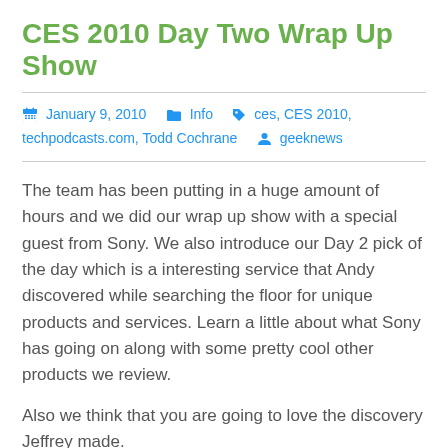CES 2010 Day Two Wrap Up Show
January 9, 2010   Info   ces, CES 2010, techpodcasts.com, Todd Cochrane   geeknews
The team has been putting in a huge amount of hours and we did our wrap up show with a special guest from Sony. We also introduce our Day 2 pick of the day which is a interesting service that Andy discovered while searching the floor for unique products and services. Learn a little about what Sony has going on along with some pretty cool other products we review.
Also we think that you are going to love the discovery Jeffrey made.